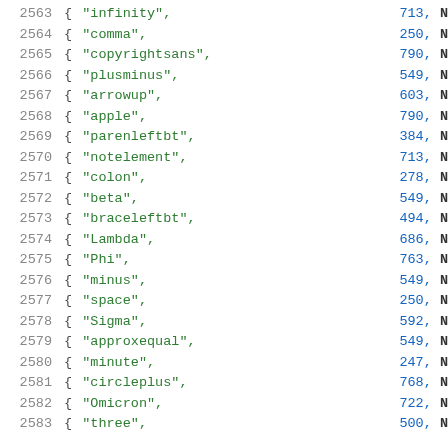2563  { "infinity",  713, N
2564  { "comma",  250, N
2565  { "copyrightsans",  790, N
2566  { "plusminus",  549, N
2567  { "arrowup",  603, N
2568  { "apple",  790, N
2569  { "parenleftbt",  384, N
2570  { "notelement",  713, N
2571  { "colon",  278, N
2572  { "beta",  549, N
2573  { "braceleftbt",  494, N
2574  { "Lambda",  686, N
2575  { "Phi",  763, N
2576  { "minus",  549, N
2577  { "space",  250, N
2578  { "Sigma",  592, N
2579  { "approxequal",  549, N
2580  { "minute",  247, N
2581  { "circleplus",  768, N
2582  { "Omicron",  722, N
2583  { "three",  500, N